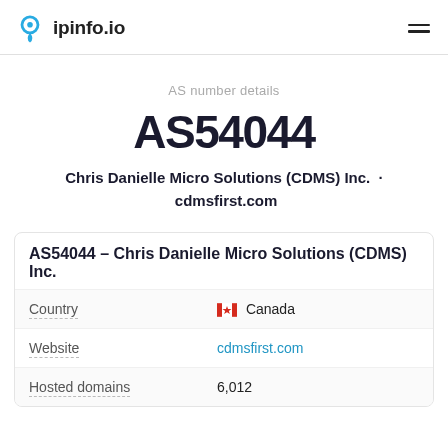ipinfo.io
AS number details
AS54044
Chris Danielle Micro Solutions (CDMS) Inc.  ·  cdmsfirst.com
| AS54044 – Chris Danielle Micro Solutions (CDMS) Inc. |  |
| Country | 🇨🇦 Canada |
| Website | cdmsfirst.com |
| Hosted domains | 6,012 |